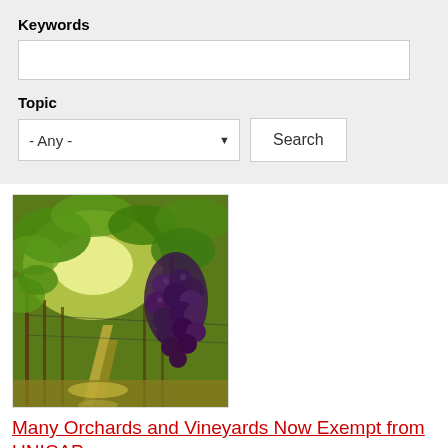Keywords
Topic
- Any -
Search
[Figure (photo): A vineyard row with clusters of dark purple grapes hanging from vines, green leaves, and sunlit rows of vines receding into the background.]
Many Orchards and Vineyards Now Exempt from UNICAP